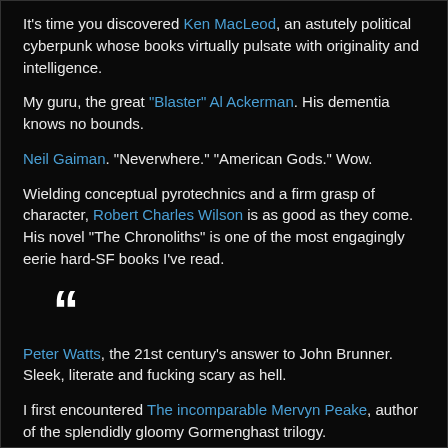It's time you discovered Ken MacLeod, an astutely political cyberpunk whose books virtually pulsate with originality and intelligence.
My guru, the great "Blaster" Al Ackerman. His dementia knows no bounds.
Neil Gaiman. "Neverwhere." "American Gods." Wow.
Wielding conceptual pyrotechnics and a firm grasp of character, Robert Charles Wilson is as good as they come. His novel "The Chronoliths" is one of the most engagingly eerie hard-SF books I've read.
[Figure (illustration): Large decorative opening double quotation mark in white on black background]
Peter Watts, the 21st century's answer to John Brunner. Sleek, literate and fucking scary as hell.
I first encountered The incomparable Mervyn Peake, author of the splendidly gloomy Gormenghast trilogy.